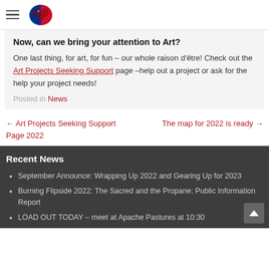[hamburger menu] [Texas/heart logo]
Now, can we bring your attention to Art?
One last thing, for art, for fun – our whole rai­son d'ê­tre! Check out the Art Projects Seeking Support page –help out a project or ask for the help your project needs!
Posted in News
← Art Projects Seeking Support Page 2022
The map for 2022 is ready →
Recent News
September Announce: Wrapping Up 2022 and Gearing Up for 2023
Burning Flipside 2022: The Sacred and the Propane: Public Information Report
LOAD OUT TODAY – meet at Apache Pastures at 10:30